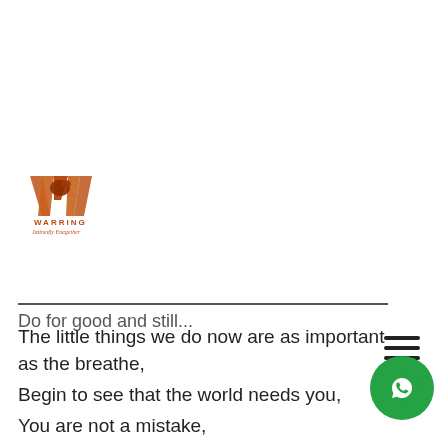[Figure (logo): W-shaped logo in orange/brown with a bird silhouette, and script text below reading 'Warring' and 'Jatinedly Enegether']
[Figure (other): Hamburger menu icon (three horizontal lines) in dark color, top right area]
[Figure (other): Green WhatsApp circular button with phone/chat icon, bottom right corner]
Do for good and still...
The little things we do now are as important as the breathe,
Begin to see that the world needs you,
You are not a mistake,